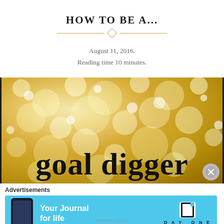HOW TO BE A...
August 11, 2016.
Reading time 10 minutes.
[Figure (photo): Gold glitter bokeh background with cursive text reading 'goal digger']
Advertisements
[Figure (screenshot): Advertisement banner for Day One: Your Journal for life app, blue background with phone mockup and Day One logo]